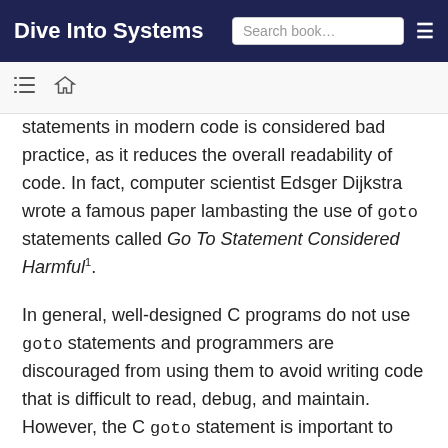Dive Into Systems
statements in modern code is considered bad practice, as it reduces the overall readability of code. In fact, computer scientist Edsger Dijkstra wrote a famous paper lambasting the use of goto statements called Go To Statement Considered Harmful¹.
In general, well-designed C programs do not use goto statements and programmers are discouraged from using them to avoid writing code that is difficult to read, debug, and maintain. However, the C goto statement is important to understand, as GCC typically